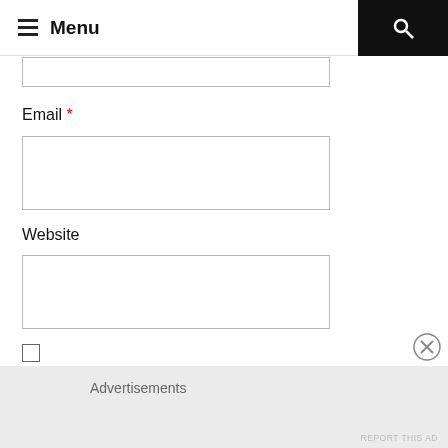Menu
Email *
Website
Save my name, email, and website in this browser for the next time I comment.
Advertisements
REPORT THIS AD